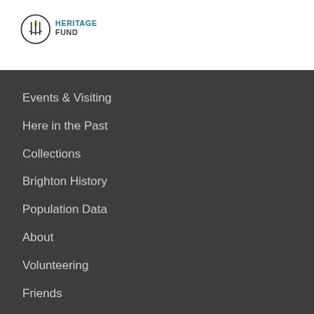[Figure (logo): National Lottery Heritage Fund logo with circular emblem and teal text reading HERITAGE FUND]
Events & Visiting
Here in the Past
Collections
Brighton History
Population Data
About
Volunteering
Friends